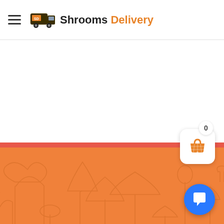Shrooms Delivery
[Figure (illustration): Orange background section with repeating mushroom silhouette pattern in a darker orange outline style, covering the lower half of the page]
[Figure (other): Shopping cart widget with white rounded square background, orange basket icon, and a circular badge showing '0']
[Figure (other): Blue circular chat/support button with white speech bubble icon in bottom right corner]